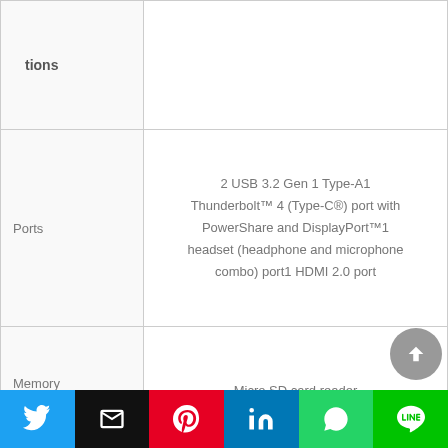| Feature | Specification |
| --- | --- |
| tions |  |
| Ports | 2 USB 3.2 Gen 1 Type-A1 Thunderbolt™ 4 (Type-C®) port with PowerShare and DisplayPort™1 headset (headphone and microphone combo) port1 HDMI 2.0 port |
| Memory card | Micro SD card reader |
| Wireless | Intel® Wi-Fi 6 2×2 (Gig+) and Bluetooth |